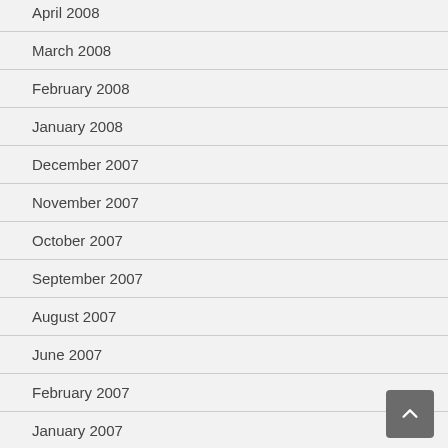April 2008
March 2008
February 2008
January 2008
December 2007
November 2007
October 2007
September 2007
August 2007
June 2007
February 2007
January 2007